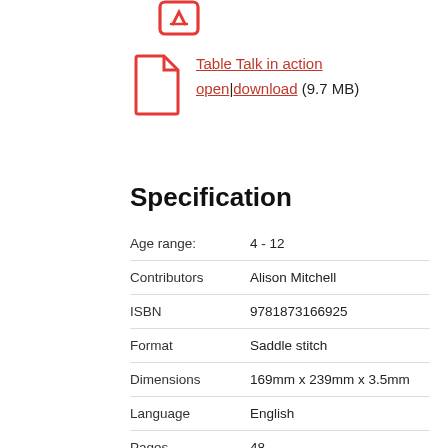[Figure (illustration): Red pencil/edit icon at the top]
[Figure (illustration): Red document/file icon next to Table Talk in action link]
Table Talk in action
open | download (9.7 MB)
Specification
| Field | Value |
| --- | --- |
| Age range: | 4 - 12 |
| Contributors | Alison Mitchell |
| ISBN | 9781873166925 |
| Format | Saddle stitch |
| Dimensions | 169mm x 239mm x 3.5mm |
| Language | English |
| Pages | 48 |
| Publisher | The Good Book Company |